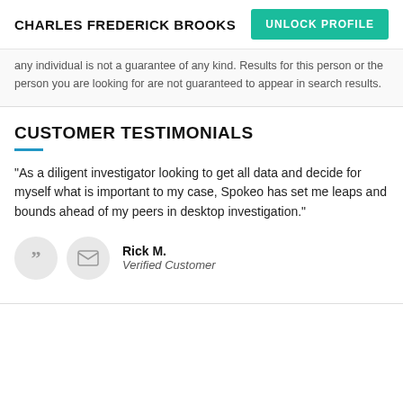CHARLES FREDERICK BROOKS
UNLOCK PROFILE
any individual is not a guarantee of any kind. Results for this person or the person you are looking for are not guaranteed to appear in search results.
CUSTOMER TESTIMONIALS
“As a diligent investigator looking to get all data and decide for myself what is important to my case, Spokeo has set me leaps and bounds ahead of my peers in desktop investigation.”
Rick M.
Verified Customer